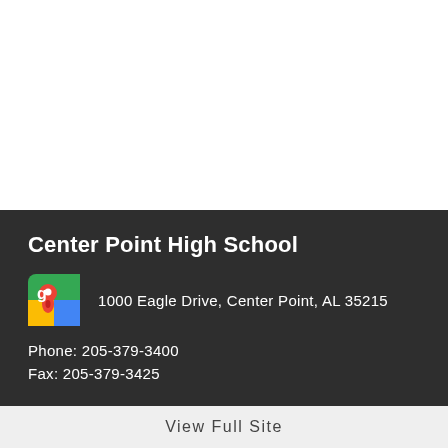[Figure (other): White blank area at top of page]
Center Point High School
1000 Eagle Drive, Center Point, AL 35215
Phone: 205-379-3400
Fax: 205-379-3425
View Full Site